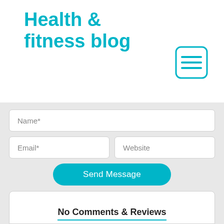Health & fitness blog
[Figure (other): Menu/hamburger icon — rounded rectangle with three horizontal lines, teal outline style]
Name*
Email*
Website
Send Message
No Comments & Reviews